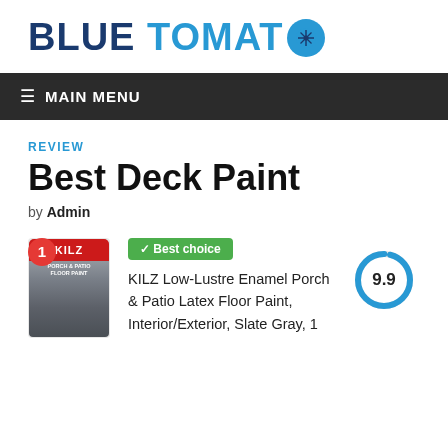[Figure (logo): Blue Tomato logo with dark blue 'BLUE', cyan 'TOMATO' text and a blue circle with asterisk/star icon replacing the letter O]
≡ MAIN MENU
REVIEW
Best Deck Paint
by Admin
[Figure (infographic): Product listing card showing: rank badge '1' in red circle, KILZ paint can image, green 'Best choice' badge, product name text, and 9.9 score in circular progress indicator]
KILZ Low-Lustre Enamel Porch & Patio Latex Floor Paint, Interior/Exterior, Slate Gray, 1